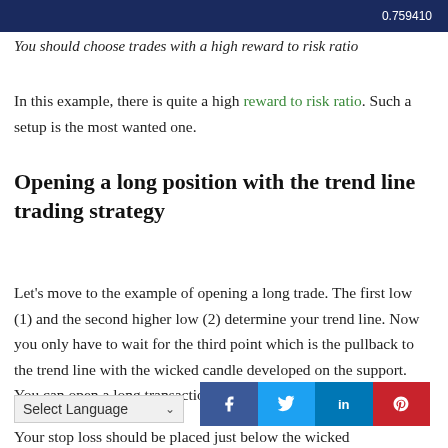[Figure (screenshot): Dark blue header bar with number 0.759410 on the right side]
You should choose trades with a high reward to risk ratio
In this example, there is quite a high reward to risk ratio. Such a setup is the most wanted one.
Opening a long position with the trend line trading strategy
Let's move to the example of opening a long trade. The first low (1) and the second higher low (2) determine your trend line. Now you only have to wait for the third point which is the pullback to the trend line with the wicked candle developed on the support. You can open a long transaction here.
[Figure (screenshot): Social media sharing buttons: Facebook (f), Twitter (bird), LinkedIn (in), Pinterest (P)]
Select Language dropdown
Your stop loss should be placed just below the wicked